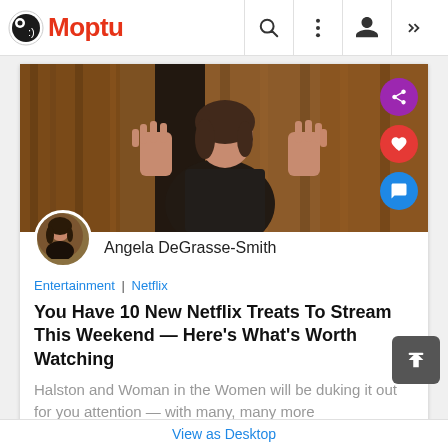Moptu
[Figure (photo): Woman pressing hands against glass window in dark scene, movie still]
Angela DeGrasse-Smith
Entertainment | Netflix
You Have 10 New Netflix Treats To Stream This Weekend — Here's What's Worth Watching
Halston and Woman in the Women will be duking it out for you attention — with many, many more
View as Desktop